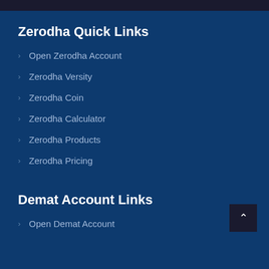Zerodha Quick Links
Open Zerodha Account
Zerodha Versity
Zerodha Coin
Zerodha Calculator
Zerodha Products
Zerodha Pricing
Demat Account Links
Open Demat Account